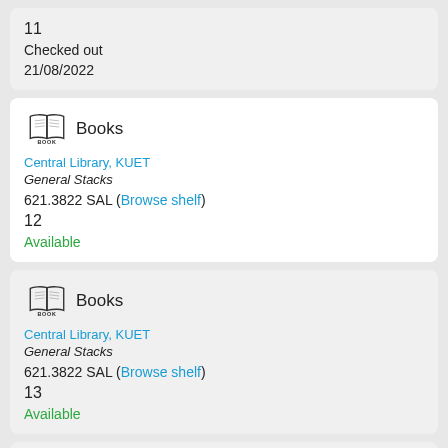11
Checked out
21/08/2022
[Figure (illustration): Book icon with label BOOKS]
Books
Central Library, KUET
General Stacks
621.3822 SAL (Browse shelf)
12
Available
[Figure (illustration): Book icon with label BOOKS]
Books
Central Library, KUET
General Stacks
621.3822 SAL (Browse shelf)
13
Available
[Figure (illustration): Book icon with label BOOKS (partial, bottom of page)]